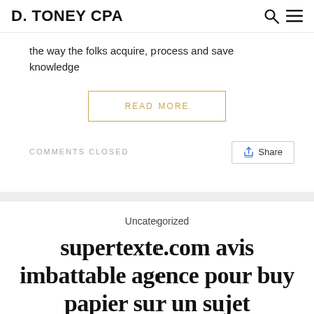D. TONEY CPA
the way the folks acquire, process and save knowledge
READ MORE
COMMENTS CLOSED
Share
Uncategorized
supertexte.com avis imbattable agence pour buy papier sur un sujet